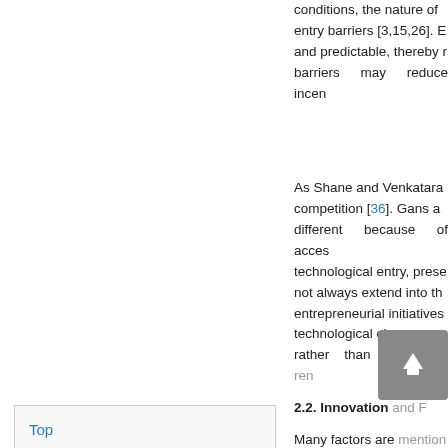conditions, the nature of entry barriers [3,15,26]. E and predictable, thereby r barriers may reduce incen
As Shane and Venkatara competition [36]. Gans a different because of acces technological entry, prese not always extend into th entrepreneurial initiatives technological change sug rather than destroyng ren
2.2. Innovation and F
Many factors are mention demand condition, techno persistence. The followin
Top
ABSTRACT
Introduction
Theoretical Framework
French Manufacturing Firms and Destroying Creation
Empirical Specification
Conclusions